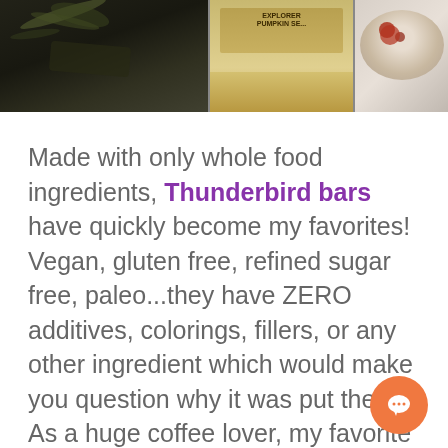[Figure (photo): Three-panel photo strip at top: left panel shows dark surface with green seeds/leaves, middle panel shows a product box (Thunderbird pumpkin seeds), right panel shows a bowl with cream and toppings.]
Made with only whole food ingredients, Thunderbird bars have quickly become my favorites! Vegan, gluten free, refined sugar free, paleo...they have ZERO additives, colorings, fillers, or any other ingredient which would make you question why it was put there. As a huge coffee lover, my favorite are the Hazelnut Coffee & Maca Bars, but they just came out with the chocolate line, and all of the bars taste like candy. Seriously, I can't get enough!